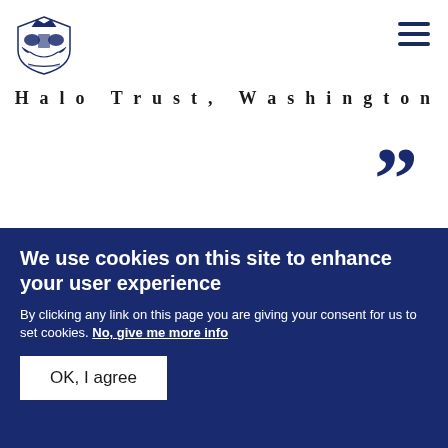[Figure (logo): UK Royal coat of arms / HALO Trust logo in dark navy blue]
Halo Trust, Washington
”
“
Meet challenge head-on
We use cookies on this site to enhance your user experience
By clicking any link on this page you are giving your consent for us to set cookies. No, give me more info
OK, I agree